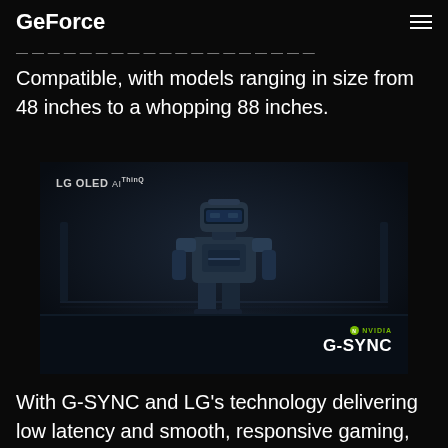GeForce
Compatible, with models ranging in size from 48 inches to a whopping 88 inches.
[Figure (photo): LG OLED TV showing a robot/armored character in a dark gaming scene with NVIDIA G-SYNC logo overlay]
With G-SYNC and LG's technology delivering low latency and smooth, responsive gaming, and their TVs getting ever larger, we're classifying LG's new 2020 TVs as Big Format Gaming Displays (BFGDs), giving gamers more options